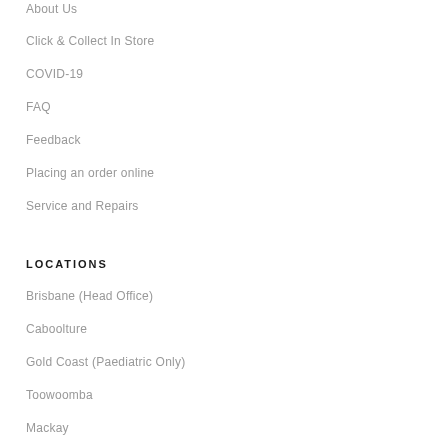About Us
Click & Collect In Store
COVID-19
FAQ
Feedback
Placing an order online
Service and Repairs
LOCATIONS
Brisbane (Head Office)
Caboolture
Gold Coast (Paediatric Only)
Toowoomba
Mackay